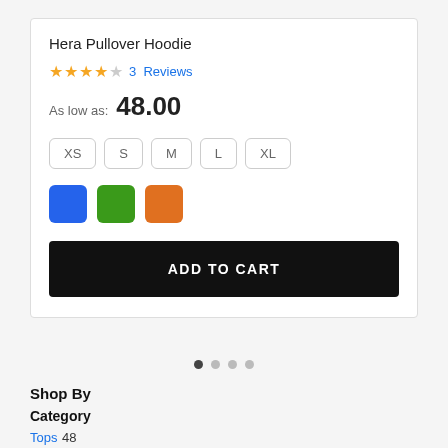Hera Pullover Hoodie
★★★★☆  3  Reviews
As low as: 48.00
XS  S  M  L  XL
[Figure (other): Three color swatches: blue, green, orange]
ADD TO CART
[Figure (other): Carousel pagination dots, 4 dots with first one active]
Shop By
Category
Tops 48